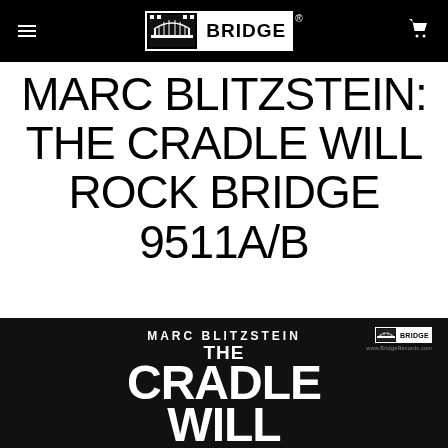BRIDGE (logo header navigation)
MARC BLITZSTEIN: THE CRADLE WILL ROCK BRIDGE 9511A/B
$ 29.99
[Figure (photo): Album cover for Marc Blitzstein: The Cradle Will Rock on Bridge Records. Black background with white bold text reading MARC BLITZSTEIN at top, THE CRADLE WILL ROCK in large stylized letters below. Bridge Records logo in upper right corner with website www.bridgerecords.com.]